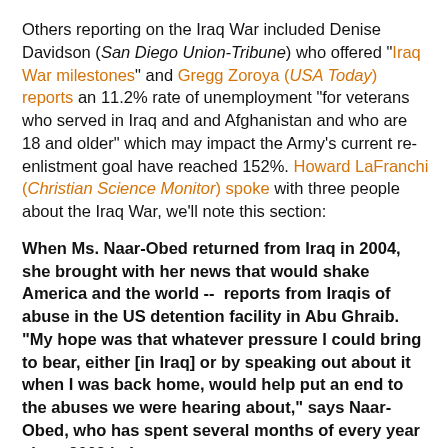Others reporting on the Iraq War included Denise Davidson (San Diego Union-Tribune) who offered "Iraq War milestones" and Gregg Zoroya (USA Today) reports an 11.2% rate of unemployment "for veterans who served in Iraq and and Afghanistan and who are 18 and older" which may impact the Army's current re-enlistment goal have reached 152%. Howard LaFranchi (Christian Science Monitor) spoke with three people about the Iraq War, we'll note this section:
When Ms. Naar-Obed returned from Iraq in 2004, she brought with her news that would shake America and the world --  reports from Iraqis of abuse in the US detention facility in Abu Ghraib. "My hope was that whatever pressure I could bring to bear, either [in Iraq] or by speaking out about it when I was back home, would help put an end to the abuses we were hearing about," says Naar-Obed, who has spent several months of every year since 2002 in Iraq. Once again in Iraq, Naar-Obed is impressed not by any progress she sees, but by the challenges Iraq still faces.